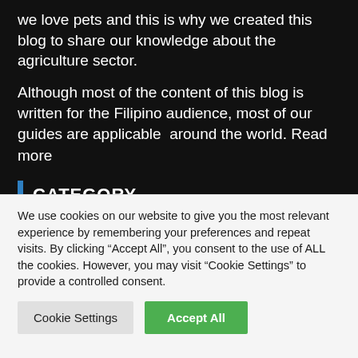we love pets and this is why we created this blog to share our knowledge about the agriculture sector.
Although most of the content of this blog is written for the Filipino audience, most of our guides are applicable  around the world. Read more
CATEGORY
Agriculture (5)
(1)
We use cookies on our website to give you the most relevant experience by remembering your preferences and repeat visits. By clicking "Accept All", you consent to the use of ALL the cookies. However, you may visit "Cookie Settings" to provide a controlled consent.
Cookie Settings | Accept All